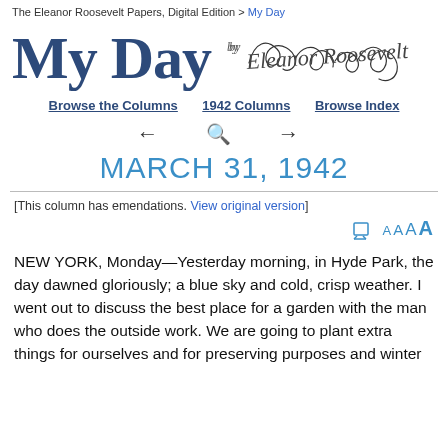The Eleanor Roosevelt Papers, Digital Edition > My Day
My Day by Eleanor Roosevelt
Browse the Columns   1942 Columns   Browse Index
← 🔍 →
MARCH 31, 1942
[This column has emendations. View original version]
NEW YORK, Monday—Yesterday morning, in Hyde Park, the day dawned gloriously; a blue sky and cold, crisp weather. I went out to discuss the best place for a garden with the man who does the outside work. We are going to plant extra things for ourselves and for preserving purposes and winter